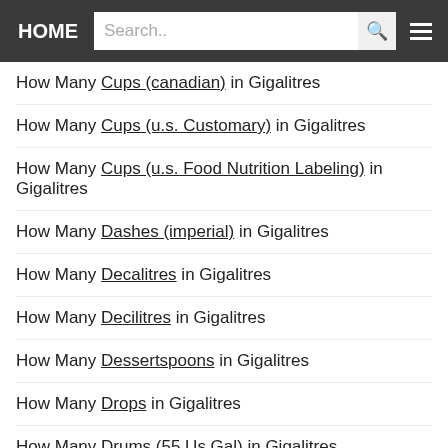HOME | Search..
How Many Cups (canadian) in Gigalitres
How Many Cups (u.s. Customary) in Gigalitres
How Many Cups (u.s. Food Nutrition Labeling) in Gigalitres
How Many Dashes (imperial) in Gigalitres
How Many Decalitres in Gigalitres
How Many Decilitres in Gigalitres
How Many Dessertspoons in Gigalitres
How Many Drops in Gigalitres
How Many Drums (55 Us Gal) in Gigalitres
How Many Fifths in Gigalitres
How Many Fluid Drams (imperial) in Gigalitres